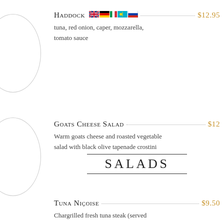[Figure (illustration): Two oval/circle outlines on the left side of the page used as decorative plate illustrations]
Haddock $12.95
tuna, red onion, caper, mozzarella, tomato sauce
Goats Cheese Salad $12
Warm goats cheese and roasted vegetable salad with black olive tapenade crostini
SALADS
Tuna Niçoise $9.50
Chargrilled fresh tuna steak (served